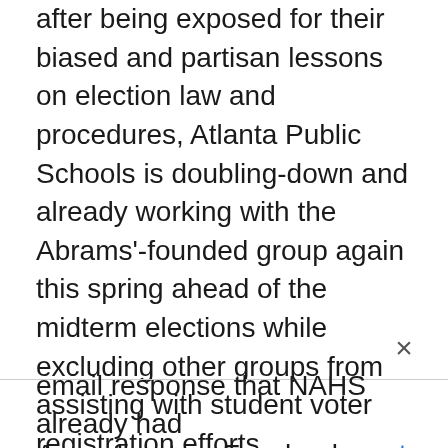after being exposed for their biased and partisan lessons on election law and procedures, Atlanta Public Schools is doubling-down and already working with the Abrams'-founded group again this spring ahead of the midterm elections while excluding other groups from assisting with student voter registration efforts.
According to a Facebook post, a voter registration drive was conducted by the New Georgia Project — the group founded by Stacey Abrams — at North Atlanta High School on Tuesday, April 12th. When Loeffler's organization Greater Georgia contacted the school seeking the same access to students to support the effort to register young voters, North
email response that NAHS already had